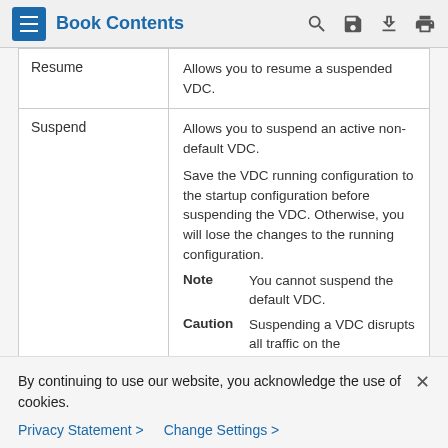Book Contents
|  |  |
| --- | --- |
| Resume | Allows you to resume a suspended VDC. |
| Suspend | Allows you to suspend an active non-default VDC.
Save the VDC running configuration to the startup configuration before suspending the VDC. Otherwise, you will lose the changes to the running configuration.
Note: You cannot suspend the default VDC.
Caution: Suspending a VDC disrupts all traffic on the |
By continuing to use our website, you acknowledge the use of cookies.
Privacy Statement > Change Settings >